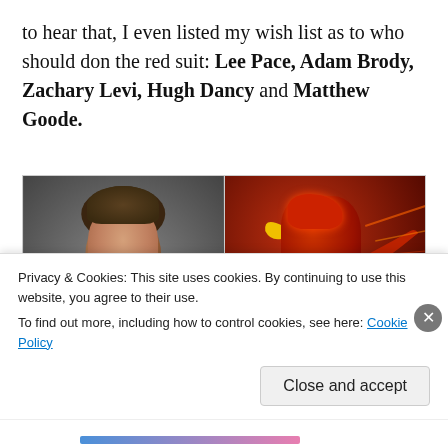to hear that, I even listed my wish list as to who should don the red suit: Lee Pace, Adam Brody, Zachary Levi, Hugh Dancy and Matthew Goode.
[Figure (photo): Two side-by-side images: left shows a young man with short brown hair wearing a white shirt (Lee Pace); right shows an illustrated/painted image of The Flash superhero in a red costume with lightning bolt emblem]
Privacy & Cookies: This site uses cookies. By continuing to use this website, you agree to their use. To find out more, including how to control cookies, see here: Cookie Policy
Close and accept